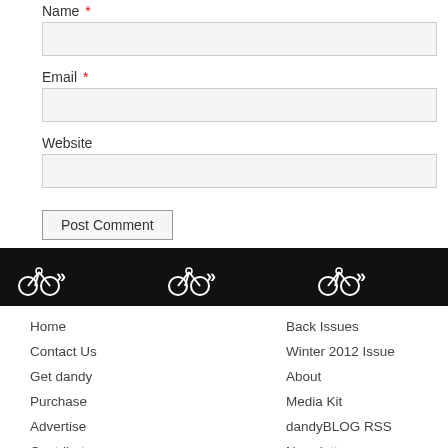Name *
Email *
Website
Post Comment
[Figure (illustration): Black banner bar with three bicycle/arrow logo icons evenly spaced]
Home
Contact Us
Get dandy
Purchase
Advertise
Contribute
Back Issues
Winter 2012 Issue
About
Media Kit
dandyBLOG RSS
Newsletter